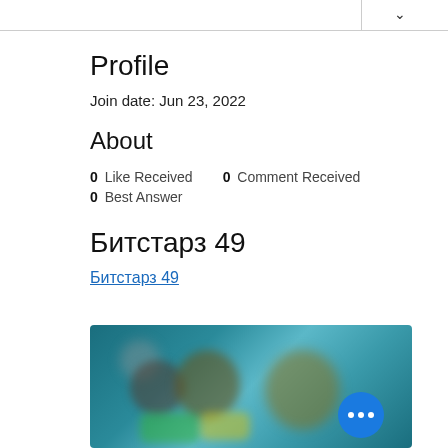Profile
Join date: Jun 23, 2022
About
0 Like Received   0 Comment Received
0 Best Answer
Битстарз 49
Битстарз 49
[Figure (photo): Blurred promotional image with dark background and colorful blurred figures, with a blue circular button with three dots (more options).]